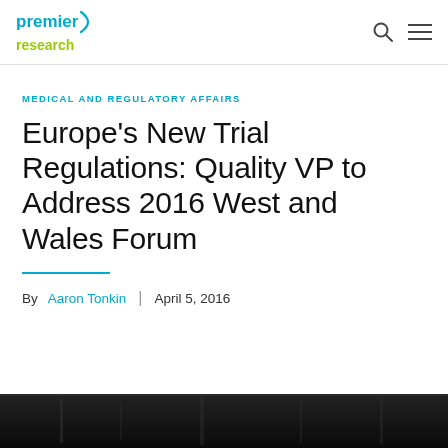Premier Research
MEDICAL AND REGULATORY AFFAIRS
Europe's New Trial Regulations: Quality VP to Address 2016 West and Wales Forum
By Aaron Tonkin | April 5, 2016
[Figure (photo): Dark photographic image strip at the bottom of the page]